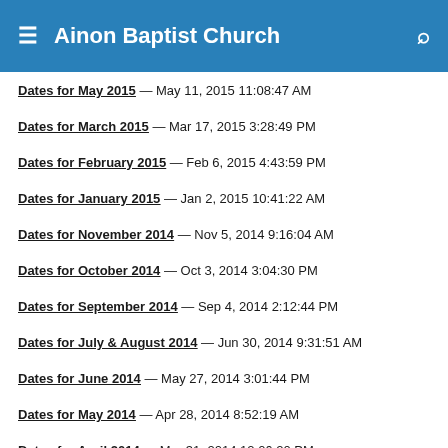Ainon Baptist Church
Dates for May 2015 — May 11, 2015 11:08:47 AM
Dates for March 2015 — Mar 17, 2015 3:28:49 PM
Dates for February 2015 — Feb 6, 2015 4:43:59 PM
Dates for January 2015 — Jan 2, 2015 10:41:22 AM
Dates for November 2014 — Nov 5, 2014 9:16:04 AM
Dates for October 2014 — Oct 3, 2014 3:04:30 PM
Dates for September 2014 — Sep 4, 2014 2:12:44 PM
Dates for July & August 2014 — Jun 30, 2014 9:31:51 AM
Dates for June 2014 — May 27, 2014 3:01:44 PM
Dates for May 2014 — Apr 28, 2014 8:52:19 AM
Dates for April 2014 — Mar 31, 2014 12:06:20 PM